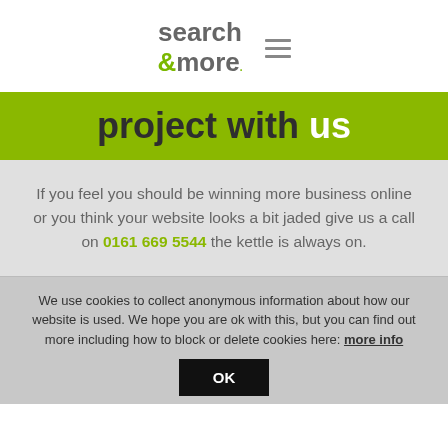search &more [logo with hamburger menu icon]
project with us
If you feel you should be winning more business online or you think your website looks a bit jaded give us a call on 0161 669 5544 the kettle is always on.
We use cookies to collect anonymous information about how our website is used. We hope you are ok with this, but you can find out more including how to block or delete cookies here: more info
OK